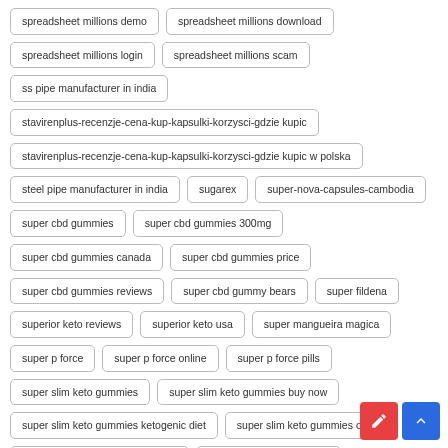spreadsheet millions demo
spreadsheet millions download
spreadsheet millions login
spreadsheet millions scam
ss pipe manufacturer in india
stavirenplus-recenzje-cena-kup-kapsulki-korzysci-gdzie kupic
stavirenplus-recenzje-cena-kup-kapsulki-korzysci-gdzie kupic w polska
steel pipe manufacturer in india
sugarex
super-nova-capsules-cambodia
super cbd gummies
super cbd gummies 300mg
super cbd gummies canada
super cbd gummies price
super cbd gummies reviews
super cbd gummy bears
super fildena
superior keto reviews
superior keto usa
super mangueira magica
super p force
super p force online
super p force pills
super slim keto gummies
super slim keto gummies buy now
super slim keto gummies ketogenic diet
super slim keto gummies offer
super slim keto gummies reviews
super slim keto gummiess
super slim keto gummiess benefits
super slim keto gummiess does it work